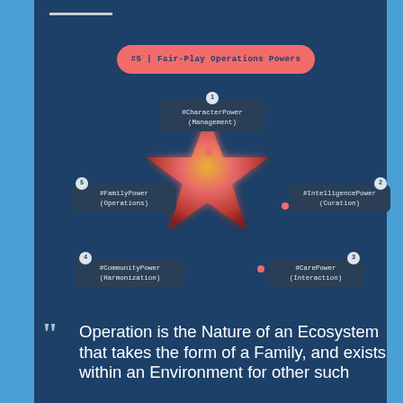[Figure (infographic): Star diagram showing 5 Fair-Play Operations Powers: 1-CharacterPower(Management) at top, 2-IntelligencePower(Curation) at right, 3-CarePower(Interaction) at lower right, 4-CommunityPower(Harmonization) at lower left, 5-FamilyPower(Operations) at left, with a glowing star in the center and red dots at each point. Pink pill label reads #5 | Fair-Play Operations Powers.]
Operation is the Nature of an Ecosystem that takes the form of a Family, and exists within an Environment for other such